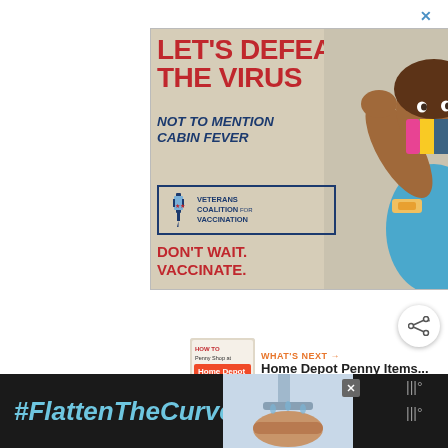[Figure (infographic): Public health advertisement: 'LET'S DEFEAT THE VIRUS NOT TO MENTION CABIN FEVER' with Veterans Coalition for Vaccination logo and 'DON'T WAIT. VACCINATE.' call to action. Shows a Black woman wearing a colorful mask and flexing her arm with a bandage, in Rosie the Riveter pose.]
[Figure (infographic): Partial screenshot of a web page showing a share button (circle with share icon), a 'WHAT'S NEXT' panel with thumbnail and 'Home Depot Penny Items...' title, and a partial '#FlattenTheCurve' banner ad at the bottom with handwashing image.]